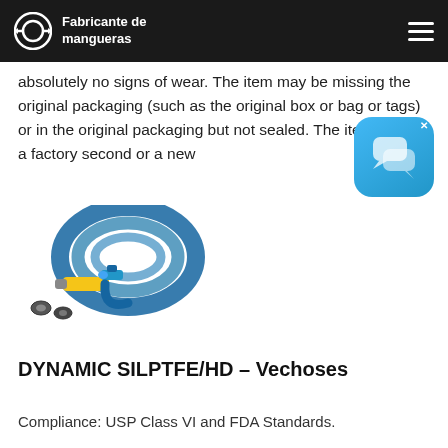Fabricante de mangueras
absolutely no signs of wear. The item may be missing the original packaging (such as the original box or bag or tags) or in the original packaging but not sealed. The item may be a factory second or a new
[Figure (photo): Blue flat hose coiled up with spray nozzle, connectors and fittings laid out in front]
DYNAMIC SILPTFE/HD – Vechoses
Compliance: USP Class VI and FDA Standards.
Temperature Resistance : – 30°C + 150°C. APPLIION: